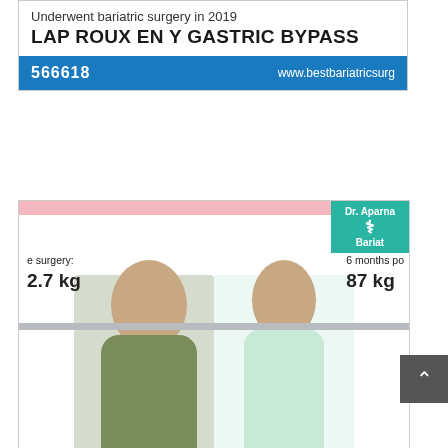Underwent bariatric surgery in 2019
LAP ROUX EN Y GASTRIC BYPASS
566618   www.bestbariatricsurg
[Figure (photo): Before and after photos of Ms. Mansi Vithlani showing weight loss results. Left photo shows heavier build, right photo shows slimmer build after surgery.]
Before surgery: 122.7 kg
6 months post: 87 kg
Ms. Mansi Vithlani
underwent Laparoscopic Sleeve Gastrectomy by Dr. Aparna Govil Bhasker
lost 35.7 kg